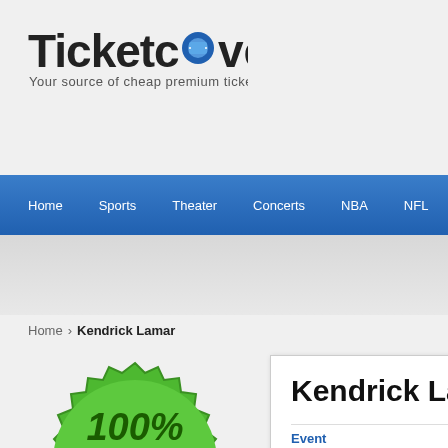[Figure (logo): TicketCover logo with text 'Your source of cheap premium tickets']
Home | Sports | Theater | Concerts | NBA | NFL | MLB | NH...
Home › Kendrick Lamar
[Figure (illustration): Green seal badge: 100% Unconditional Guarantee - Learn More]
Kendrick Lamar
| Event | Au... | 8... |
| --- | --- | --- |
| Kendrick Lamar & Baby Keem
Concerts > Rap / Hip Hop | Au... |  |
| Kendrick Lamar & Baby Keem | Au... |  |
TicketCover ALLERT!